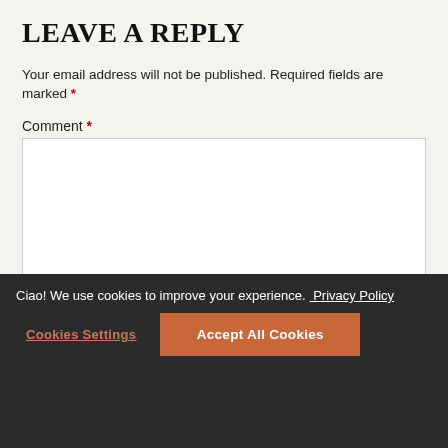LEAVE A REPLY
Your email address will not be published. Required fields are marked *
Comment *
[Figure (other): Empty comment textarea input box with white background and light gray border]
Ciao! We use cookies to improve your experience. Privacy Policy
Cookies Settings
Accept All Cookies